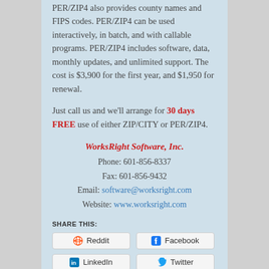PER/ZIP4 also provides county names and FIPS codes. PER/ZIP4 can be used interactively, in batch, and with callable programs. PER/ZIP4 includes software, data, monthly updates, and unlimited support. The cost is $3,900 for the first year, and $1,950 for renewal.
Just call us and we'll arrange for 30 days FREE use of either ZIP/CITY or PER/ZIP4.
WorksRight Software, Inc.
Phone: 601-856-8337
Fax: 601-856-9432
Email: software@worksright.com
Website: www.worksright.com
SHARE THIS:
[Figure (other): Share buttons: Reddit, Facebook, LinkedIn, Twitter]